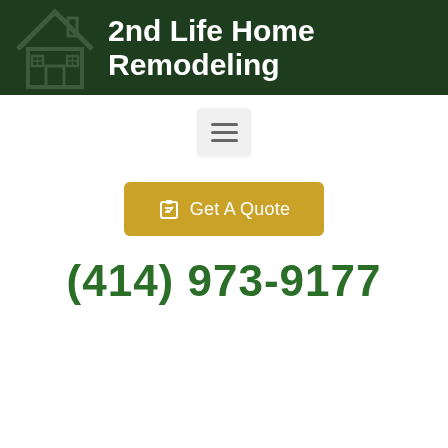2nd Life Home Remodeling
[Figure (illustration): Menu/hamburger button icon in light gray box]
[Figure (illustration): Get A Quote button with calendar/clipboard icon, golden/yellow background]
(414) 973-9177